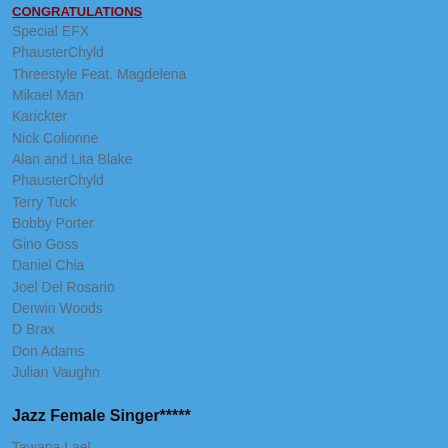CONGRATULATIONS
Special EFX
PhausterChyld
Threestyle Feat. Magdelena
Mikael Man
Karickter
Nick Colionne
Alan and Lita Blake
PhausterChyld
Terry Tuck
Bobby Porter
Gino Goss
Daniel Chia
Joel Del Rosario
Derwin Woods
D Brax
Don Adams
Julian Vaughn
Jazz Female Singer*****
Tawana Lael
Malina Naroze